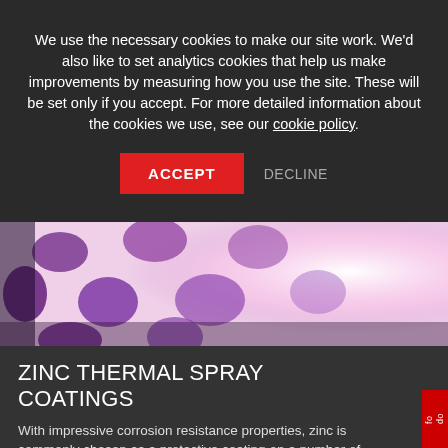We use the necessary cookies to make our site work. We'd also like to set analytics cookies that help us make improvements by measuring how you use the site. These will be set only if you accept. For more detailed information about the cookies we use, see our cookie policy.
ACCEPT
DECLINE
[Figure (photo): Close-up photo of purple/violet circular spots or cells on a light pink/white background, with bright light source on the right side]
ZINC THERMAL SPRAY COATINGS
With impressive corrosion resistance properties, zinc is commonly chosen as a protective coating on a number of components that have to